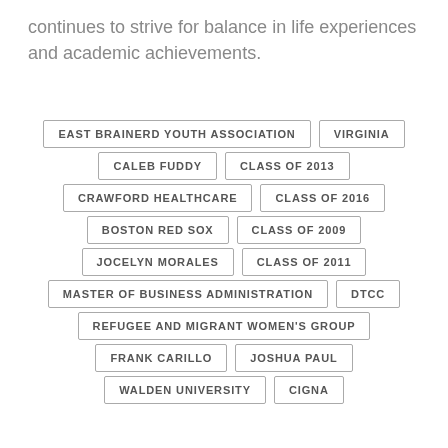continues to strive for balance in life experiences and academic achievements.
EAST BRAINERD YOUTH ASSOCIATION
VIRGINIA
CALEB FUDDY
CLASS OF 2013
CRAWFORD HEALTHCARE
CLASS OF 2016
BOSTON RED SOX
CLASS OF 2009
JOCELYN MORALES
CLASS OF 2011
MASTER OF BUSINESS ADMINISTRATION
DTCC
REFUGEE AND MIGRANT WOMEN'S GROUP
FRANK CARILLO
JOSHUA PAUL
WALDEN UNIVERSITY
CIGNA